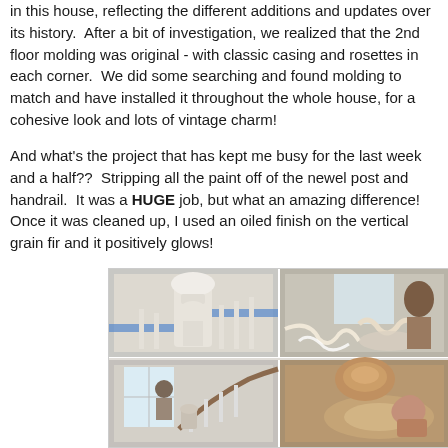in this house, reflecting the different additions and updates over its history. After a bit of investigation, we realized that the 2nd floor molding was original - with classic casing and rosettes in each corner. We did some searching and found molding to match and have installed it throughout the whole house, for a cohesive look and lots of vintage charm!
And what's the project that has kept me busy for the last week and a half?? Stripping all the paint off of the newel post and handrail. It was a HUGE job, but what an amazing difference! Once it was cleaned up, I used an oiled finish on the vertical grain fir and it positively glows!
[Figure (photo): Four-panel photo collage showing staircase newel post and handrail renovation: top-left shows white painted newel post before stripping, top-right shows paint stripping process with debris, bottom-left shows staircase with worker, bottom-right shows close-up of wood detail after oiling.]